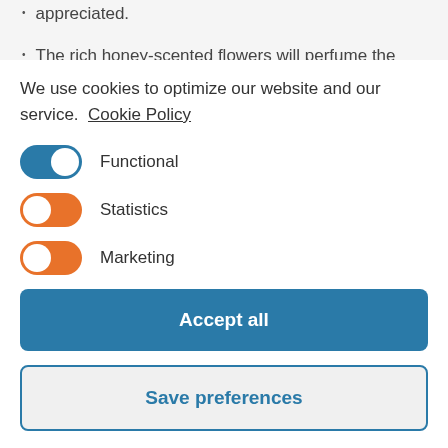appreciated.
The rich honey-scented flowers will perfume the
We use cookies to optimize our website and our service. Cookie Policy
Functional
Statistics
Marketing
Accept all
Save preferences
Fast: 1-1.5 m per year under favourable conditions